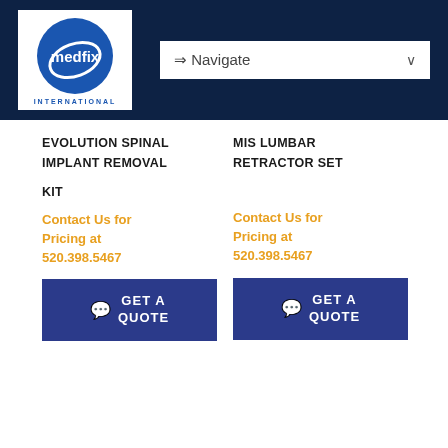[Figure (logo): Medfix International logo — blue circle with white 'medfix' text and swoosh, 'INTERNATIONAL' below in blue serif capitals]
⇒ Navigate
EVOLUTION SPINAL
MIS LUMBAR
IMPLANT REMOVAL
RETRACTOR SET
KIT
Contact Us for Pricing at 520.398.5467
Contact Us for Pricing at 520.398.5467
GET A QUOTE
GET A QUOTE